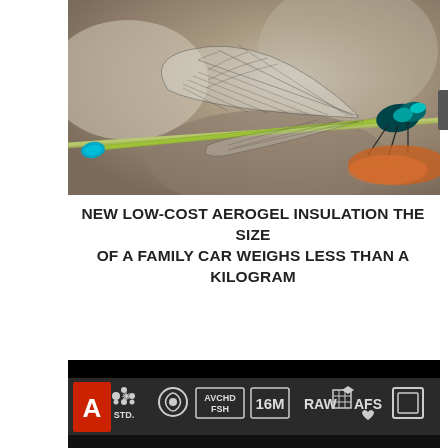[Figure (photo): Close-up macro photograph of a dragonfly perched on a twig, showing detailed wing venation, iridescent teal-blue body, and orange feet against a blurred grey-brown bokeh background.]
NEW LOW-COST AEROGEL INSULATION THE SIZE OF A FAMILY CAR WEIGHS LESS THAN A KILOGRAM
[Figure (photo): Close-up of a camera LCD screen showing shooting settings: red 'A' mode indicator, STD picture style icon, macro/flower icon, AVCHD FSH video mode, 16M resolution, RAW with grid icon, AFS autofocus, and single-frame shooting mode icon, all on a dark background.]